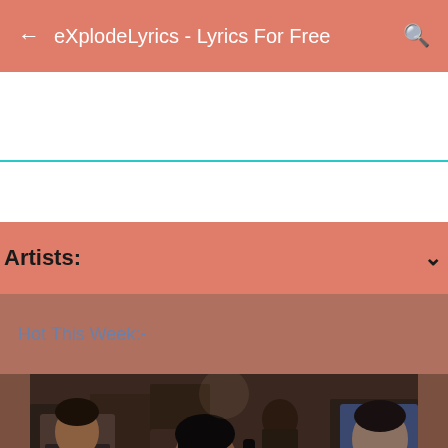eXplodeLyrics - Lyrics For Free
Artists:
Hot This Week:-
[Figure (photo): A crowd scene photograph showing people at what appears to be a concert or public event. A person with dark hair is visible in the foreground center, with other people around them including someone in a suit with a yellow tie on the left and a person in blue on the right.]